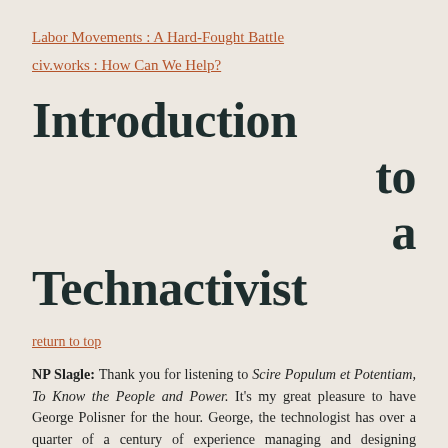Labor Movements : A Hard-Fought Battle
civ.works : How Can We Help?
Introduction to a Technactivist
return to top
NP Slagle: Thank you for listening to Scire Populum et Potentiam, To Know the People and Power. It's my great pleasure to have George Polisner for the hour. George, the technologist has over a quarter of a century of experience managing and designing distributed systems, cloud services, QA and data products for various big names in high tech such as Dell and perhaps more infamously a director at Oracle. His impressive list of technical credits also include state